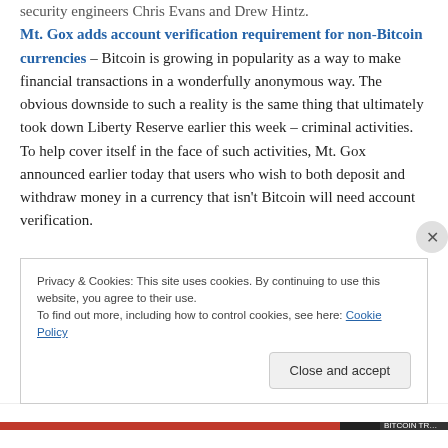Mt. Gox adds account verification requirement for non-Bitcoin currencies – Bitcoin is growing in popularity as a way to make financial transactions in a wonderfully anonymous way. The obvious downside to such a reality is the same thing that ultimately took down Liberty Reserve earlier this week – criminal activities. To help cover itself in the face of such activities, Mt. Gox announced earlier today that users who wish to both deposit and withdraw money in a currency that isn't Bitcoin will need account verification.
Privacy & Cookies: This site uses cookies. By continuing to use this website, you agree to their use.
To find out more, including how to control cookies, see here: Cookie Policy